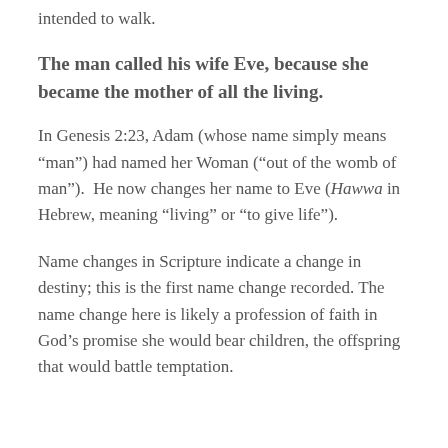intended to walk.
The man called his wife Eve, because she became the mother of all the living.
In Genesis 2:23, Adam (whose name simply means “man”) had named her Woman (“out of the womb of man”).  He now changes her name to Eve (Hawwa in Hebrew, meaning “living” or “to give life”).
Name changes in Scripture indicate a change in destiny; this is the first name change recorded.  The name change here is likely a profession of faith in God’s promise she would bear children, the offspring that would battle temptation.